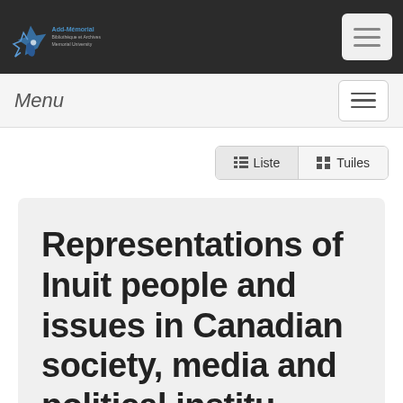Add-Memorial — logo and navigation
Menu
≡ Liste   ⊞ Tuiles
Representations of Inuit people and issues in Canadian society, media and political institutions